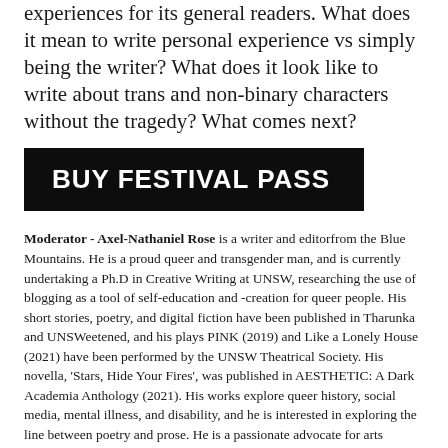experiences for its general readers. What does it mean to write personal experience vs simply being the writer? What does it look like to write about trans and non-binary characters without the tragedy? What comes next?
[Figure (other): Black button/banner with white bold uppercase text reading BUY FESTIVAL PASS]
Moderator - Axel-Nathaniel Rose is a writer and editorfrom the Blue Mountains. He is a proud queer and transgender man, and is currently undertaking a Ph.D in Creative Writing at UNSW, researching the use of blogging as a tool of self-education and -creation for queer people. His short stories, poetry, and digital fiction have been published in Tharunka and UNSWeetened, and his plays PINK (2019) and Like a Lonely House (2021) have been performed by the UNSW Theatrical Society. His novella, 'Stars, Hide Your Fires', was published in AESTHETIC: A Dark Academia Anthology (2021). His works explore queer history, social media, mental illness, and disability, and he is interested in exploring the line between poetry and prose. He is a passionate advocate for arts education, and he believes that a crucial part of activism is the stories that we tell. He is the 2021 coordinator of UNSWeetened Literary